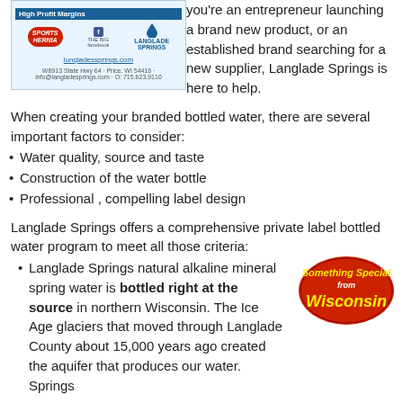[Figure (logo): Langlade Springs branded water product image with company logo, Facebook link, website URL longladesprings.com, and contact information. Blue header bar with 'High Profit Margins' text.]
you're an entrepreneur launching a brand new product, or an established brand searching for a new supplier, Langlade Springs is here to help.
When creating your branded bottled water, there are several important factors to consider:
Water quality, source and taste
Construction of the water bottle
Professional , compelling label design
Langlade Springs offers a comprehensive private label bottled water program to meet all those criteria:
[Figure (logo): Something Special from Wisconsin oval badge logo with red background and yellow/white text]
Langlade Springs natural alkaline mineral spring water is bottled right at the source in northern Wisconsin. The Ice Age glaciers that moved through Langlade County about 15,000 years ago created the aquifer that produces our water. Springs